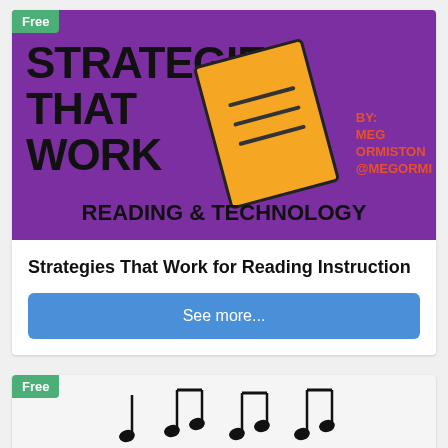[Figure (illustration): Purple banner for 'Strategies That Work' reading and technology book cover with orange notebook illustration and author credit BY: MEG ORMISTON @MEGORMI]
Strategies That Work for Reading Instruction
See more...
[Figure (illustration): Second card with Free badge and musical notes illustration on light grey background]